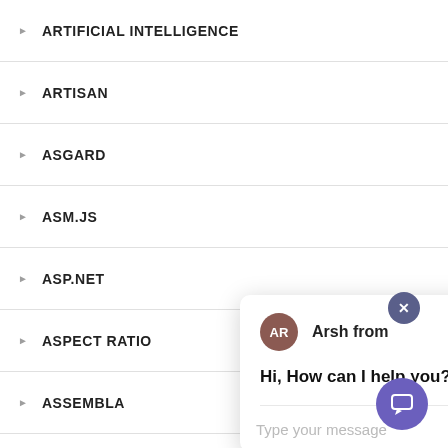ARTIFICIAL INTELLIGENCE
ARTISAN
ASGARD
ASM.JS
ASP.NET
ASPECT RATIO
ASSEMBLA
ASSET HANDLING
ASSET MANAGEMENT
[Figure (screenshot): Chat popup with agent AR (Arsh) saying 'Hi, How can I help you?' and a message input field with placeholder 'Type your message']